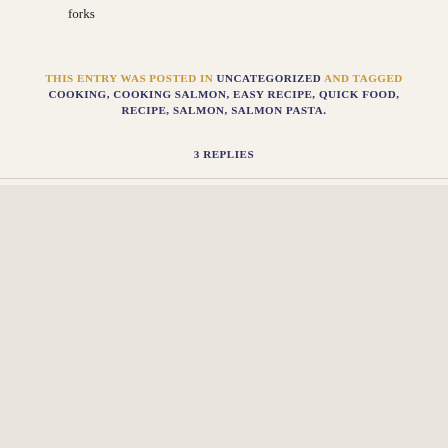forks
THIS ENTRY WAS POSTED IN UNCATEGORIZED AND TAGGED COOKING, COOKING SALMON, EASY RECIPE, QUICK FOOD, RECIPE, SALMON, SALMON PASTA.
3 REPLIES
[Figure (photo): Beige textured background filling the lower portion of the page]